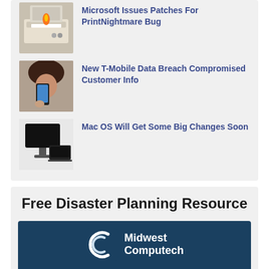Microsoft Issues Patches For PrintNightmare Bug
New T-Mobile Data Breach Compromised Customer Info
Mac OS Will Get Some Big Changes Soon
Free Disaster Planning Resource
[Figure (infographic): Midwest Computech branded banner showing Critical IT Security Threats & Disaster Planning Organizations Must Protect & Prepare for NOW, Plan for Problems | Avoid Cyber-Attacks | Negative PR and Other Problems]